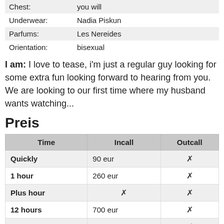|  |  |
| --- | --- |
| Chest: | you will |
| Underwear: | Nadia Piskun |
| Parfums: | Les Nereides |
| Orientation: | bisexual |
I am: I love to tease, i'm just a regular guy looking for some extra fun looking forward to hearing from you. We are looking to our first time where my husband wants watching...
Preis
| Time | Incall | Outcall |
| --- | --- | --- |
| Quickly | 90 eur | ✗ |
| 1 hour | 260 eur | ✗ |
| Plus hour | ✗ | ✗ |
| 12 hours | 700 eur | ✗ |
| 24 hours | 1100 eur | ✗ |
REVIEWS OF THIS ESCORT (21):